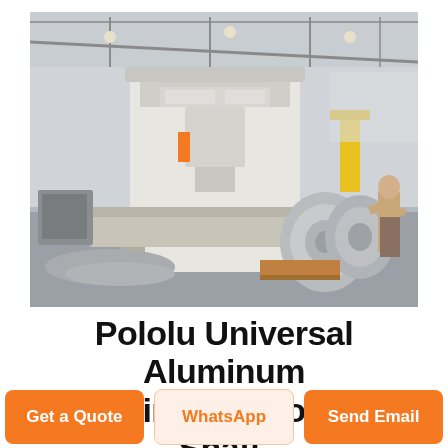[Figure (photo): Industrial manufacturing facility interior showing large metal stamping or pressing machine (white/cream colored), with a worker on the right side operating equipment. Aluminum sheet coils and metal scrap pieces visible on the factory floor. Steel-framed roof structure visible above.]
Pololu Universal Aluminum Mounting Hub for 5mm Shaft,
Get a Quote
WhatsApp
Send Email